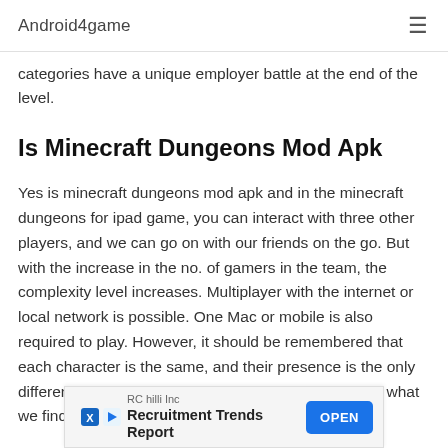Android4game
categories have a unique employer battle at the end of the level.
Is Minecraft Dungeons Mod Apk
Yes is minecraft dungeons mod apk and in the minecraft dungeons for ipad game, you can interact with three other players, and we can go on with our friends on the go. But with the increase in the no. of gamers in the team, the complexity level increases. Multiplayer with the internet or local network is possible. One Mac or mobile is also required to play. However, it should be remembered that each character is the same, and their presence is the only difference. Our place in the team depends entirely on what we find… rent items…
[Figure (other): Advertisement banner: RC hilli Inc - Recruitment Trends Report with OPEN button]